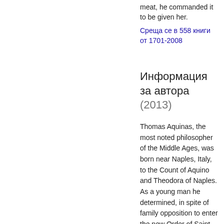meat, he commanded it to be given her.
Среща се в 558 книги от 1701-2008
Информация за автора (2013)
Thomas Aquinas, the most noted philosopher of the Middle Ages, was born near Naples, Italy, to the Count of Aquino and Theodora of Naples. As a young man he determined, in spite of family opposition to enter the new Order of Saint Dominic. He did so in 1244. Thomas Aquinas was a fairly radical